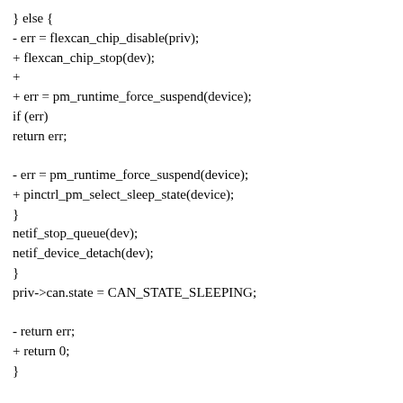} else {
- err = flexcan_chip_disable(priv);
+ flexcan_chip_stop(dev);
+
+ err = pm_runtime_force_suspend(device);
if (err)
return err;

- err = pm_runtime_force_suspend(device);
+ pinctrl_pm_select_sleep_state(device);
}
netif_stop_queue(dev);
netif_device_detach(dev);
}
priv->can.state = CAN_STATE_SLEEPING;

- return err;
+ return 0;
}

static int __maybe_unused flexcan_resume(struct device *device)
{
struct net_device *dev = dev_get_drvdata(device);
struct flexcan_priv *priv = netdev_priv(dev);
- int err = 0;
+...